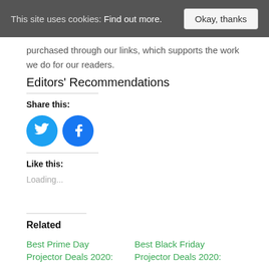This site uses cookies: Find out more. | Okay, thanks
purchased through our links, which supports the work we do for our readers.
Editors' Recommendations
Share this:
[Figure (illustration): Twitter and Facebook circular social share buttons]
Like this:
Loading...
Related
Best Prime Day Projector Deals 2020:
Best Black Friday Projector Deals 2020: